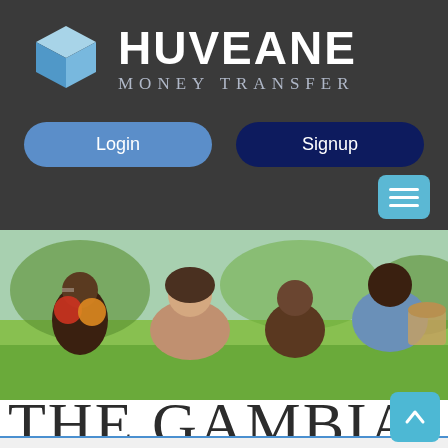[Figure (logo): Huveane Money Transfer logo with a blue cube icon on the left and the brand name HUVEANE in large white bold text with MONEY TRANSFER in smaller gray spaced letters below, on a dark gray background.]
Login
Signup
[Figure (photo): A family of four (woman, man, two children) lying on green grass outdoors, smiling. One child holds apples over their eyes. There is a picnic basket visible on the right.]
THE GAMBIA